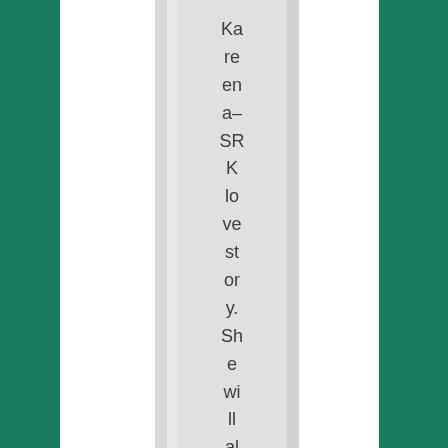Karen a-SRK love story. She will always be hi